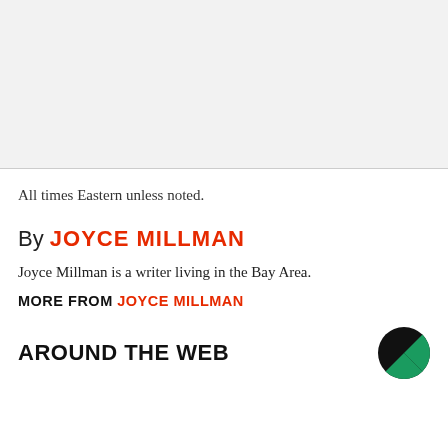[Figure (other): Gray background area at top of page, above a horizontal divider line]
All times Eastern unless noted.
By JOYCE MILLMAN
Joyce Millman is a writer living in the Bay Area.
MORE FROM JOYCE MILLMAN
AROUND THE WEB
[Figure (logo): Partial circular logo with green and black segments, bottom right corner]